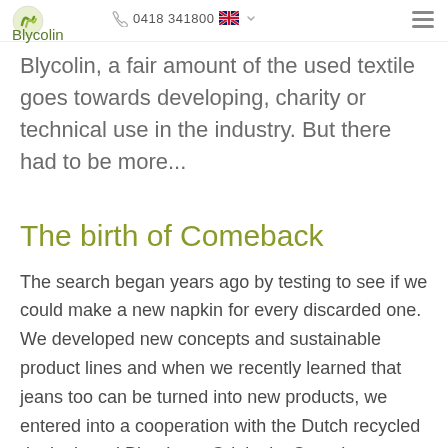Blycolin  0418 341800
Blycolin, a fair amount of the used textile goes towards developing, charity or technical use in the industry. But there had to be more...
The birth of Comeback
The search began years ago by testing to see if we could make a new napkin for every discarded one. We developed new concepts and sustainable product lines and when we recently learned that jeans too can be turned into new products, we entered into a cooperation with the Dutch recycled denim brand Blue Loop Originals. Over the past